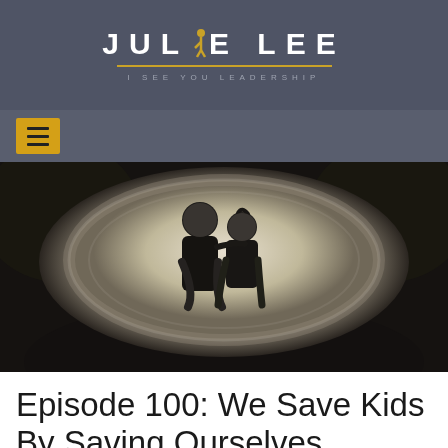JULIE LEE — I SEE YOU LEADERSHIP
[Figure (photo): Black and white photo of two young children (a boy and a girl) smiling inside what appears to be a large circular tunnel or pipe. The boy has his arm around the girl. Both are wearing dark clothing.]
Episode 100: We Save Kids By Saving Ourselves